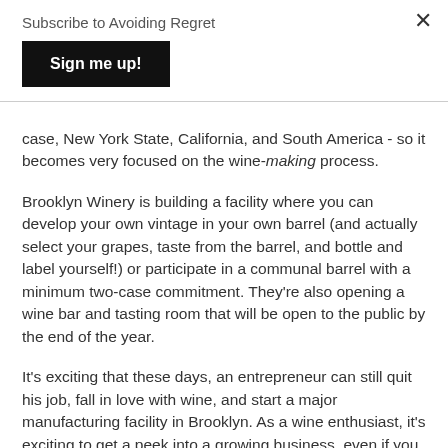Subscribe to Avoiding Regret
Sign me up!
case, New York State, California, and South America - so it becomes very focused on the wine-making process.
Brooklyn Winery is building a facility where you can develop your own vintage in your own barrel (and actually select your grapes, taste from the barrel, and bottle and label yourself!) or participate in a communal barrel with a minimum two-case commitment. They're also opening a wine bar and tasting room that will be open to the public by the end of the year.
It's exciting that these days, an entrepreneur can still quit his job, fall in love with wine, and start a major manufacturing facility in Brooklyn. As a wine enthusiast, it's exciting to get a peek into a growing business, even if you can't watch the grapes themselves grow.